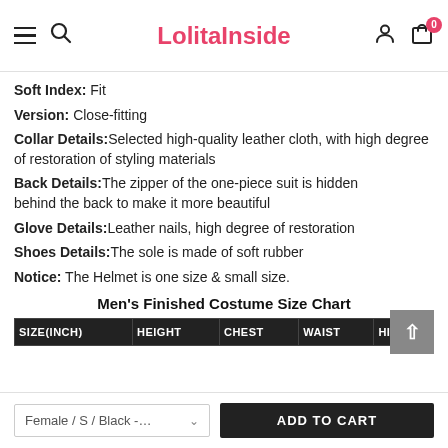LolitaInside
Soft Index: Fit
Version: Close-fitting
Collar Details: Selected high-quality leather cloth, with high degree of restoration of styling materials
Back Details: The zipper of the one-piece suit is hidden behind the back to make it more beautiful
Glove Details: Leather nails, high degree of restoration
Shoes Details: The sole is made of soft rubber
Notice: The Helmet is one size & small size.
Men's Finished Costume Size Chart
| SIZE(INCH) | HEIGHT | CHEST | WAIST | HIPS |
| --- | --- | --- | --- | --- |